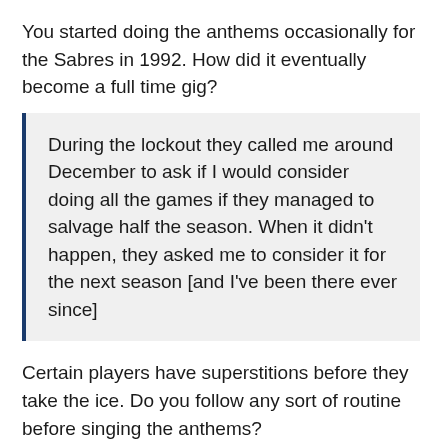You started doing the anthems occasionally for the Sabres in 1992. How did it eventually become a full time gig?
During the lockout they called me around December to ask if I would consider doing all the games if they managed to salvage half the season. When it didn't happen, they asked me to consider it for the next season [and I've been there ever since]
Certain players have superstitions before they take the ice. Do you follow any sort of routine before singing the anthems?
I do some vocal warm-ups in the penalty box. I also sing and hum to the radio on my drive to the arena. I